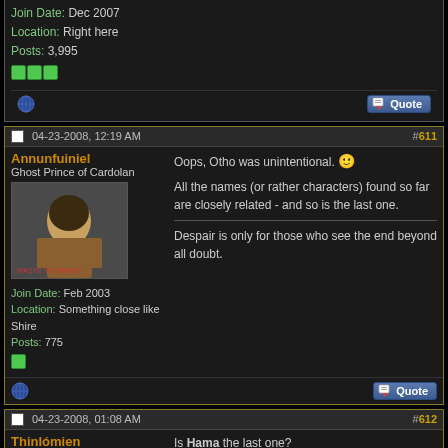Join Date: Dec 2007
Location: Right here
Posts: 3,995
#611 04-23-2008, 12:19 AM
Annunfuiniel
Ghost Prince of Cardolan
Join Date: Feb 2003
Location: Something close like Shire
Posts: 775
Oops, Otho was unintentional. :) All the names (or rather characters) found so far are closely related - and so is the last one.
Despair is only for those who see the end beyond all doubt.
#612 04-23-2008, 01:08 AM
Thinlómien
Shady She-Penguin
Is Hama the last one?
Like the stars chase the sun, over the glowing hill I will